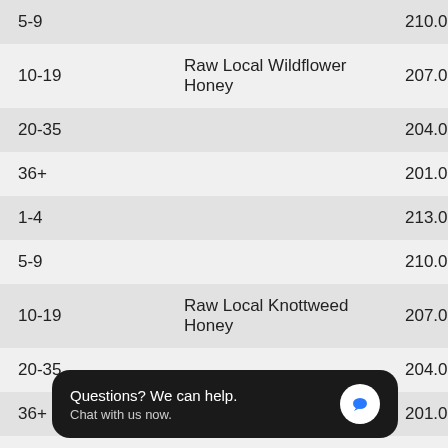| Quantity | Product | Price |
| --- | --- | --- |
| 5-9 |  | 210.00 |
| 10-19 | Raw Local Wildflower Honey | 207.00 |
| 20-35 |  | 204.00 |
| 36+ |  | 201.00 |
| 1-4 |  | 213.00 |
| 5-9 |  | 210.00 |
| 10-19 | Raw Local Knottweed Honey | 207.00 |
| 20-35 |  | 204.00 |
| 36+ |  | 201.00 |